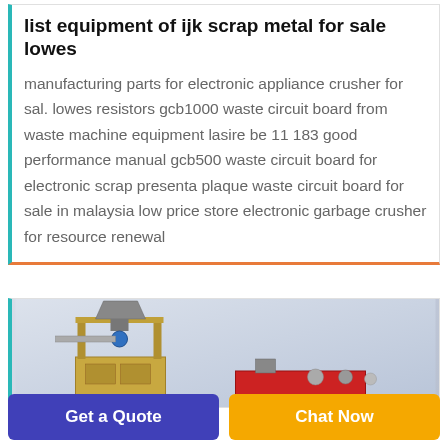list equipment of ijk scrap metal for sale lowes
manufacturing parts for electronic appliance crusher for sal. lowes resistors gcb1000 waste circuit board from waste machine equipment lasire be 11 183 good performance manual gcb500 waste circuit board for electronic scrap presenta plaque waste circuit board for sale in malaysia low price store electronic garbage crusher for resource renewal
[Figure (photo): 3D rendering of industrial scrap metal processing equipment - a tall frame-mounted machine on the left and a red horizontal machine component on the right, against a light grey background]
Get a Quote
Chat Now